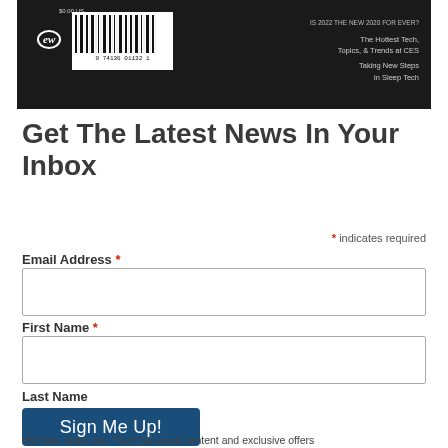[Figure (photo): Magazine cover partial image showing a barcode, logo, price, and text about hottest tech topics and trends at CES, taking new steps in sleep tech, on a dark background.]
Get The Latest News In Your Inbox
* indicates required
Email Address *
First Name *
Last Name
Sign Me Up!
We hate spam too. You'll get great content and exclusive offers